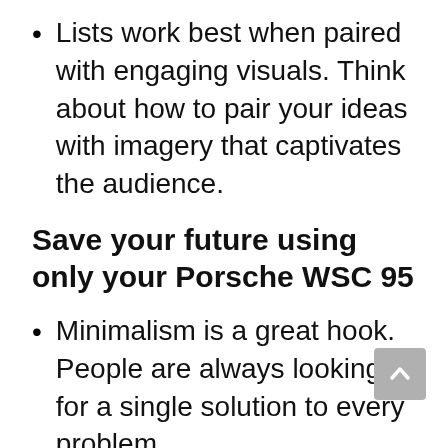Lists work best when paired with engaging visuals. Think about how to pair your ideas with imagery that captivates the audience.
Save your future using only your Porsche WSC 95
Minimalism is a great hook. People are always looking for a single solution to every problem.
This could get interesting.
15 unexpected ways